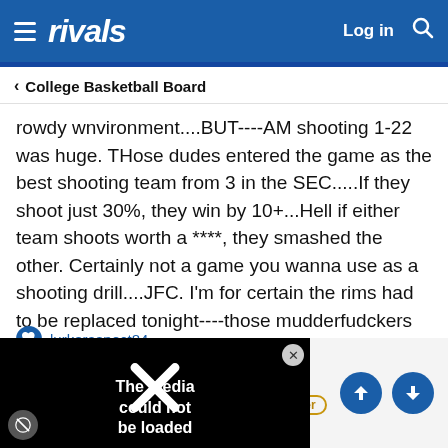rivals — Log in
< College Basketball Board
rowdy wnvironment....BUT----AM shooting 1-22 was huge. THose dudes entered the game as the best shooting team from 3 in the SEC.....If they shoot just 30%, they win by 10+...Hell if either team shoots worth a ****, they smashed the other. Certainly not a game you wanna use as a shooting drill....JFC. I'm for certain the rims had to be replaced tonight----those mudderfudckers have to bent up as **** ...
lurkeraspect84
[Figure (screenshot): Media overlay with X logo and text 'The media could not be loaded']
rden — Platinum Member — Gold Member